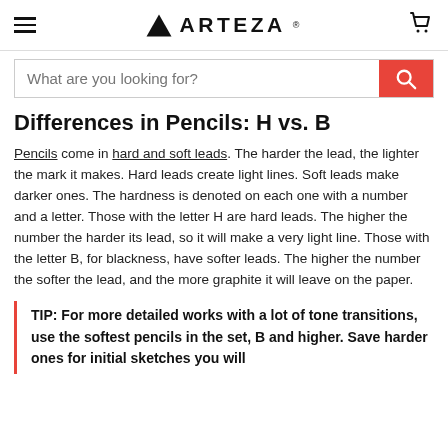ARTEZA
Differences in Pencils: H vs. B
Pencils come in hard and soft leads. The harder the lead, the lighter the mark it makes. Hard leads create light lines. Soft leads make darker ones. The hardness is denoted on each one with a number and a letter. Those with the letter H are hard leads. The higher the number the harder its lead, so it will make a very light line. Those with the letter B, for blackness, have softer leads. The higher the number the softer the lead, and the more graphite it will leave on the paper.
TIP: For more detailed works with a lot of tone transitions, use the softest pencils in the set, B and higher. Save harder ones for initial sketches you will